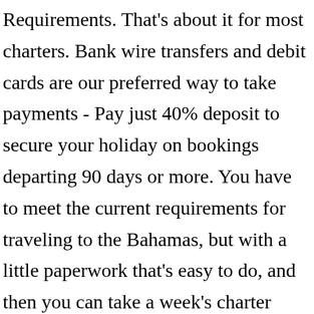Requirements. That's about it for most charters. Bank wire transfers and debit cards are our preferred way to take payments - Pay just 40% deposit to secure your holiday on bookings departing 90 days or more. You have to meet the current requirements for traveling to the Bahamas, but with a little paperwork that's easy to do, and then you can take a week's charter there just the same as you could in the pre-COVID days. It is approximately 300′ from moorings and the dive park. For example: if I sail a Moorings boat into the anchorage at Anegada Island, BVI, I could m...